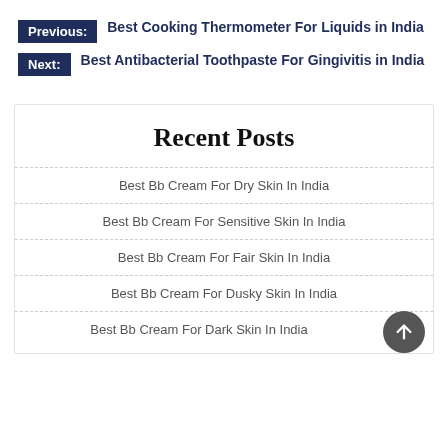Previous: Best Cooking Thermometer For Liquids in India
Next: Best Antibacterial Toothpaste For Gingivitis in India
Recent Posts
Best Bb Cream For Dry Skin In India
Best Bb Cream For Sensitive Skin In India
Best Bb Cream For Fair Skin In India
Best Bb Cream For Dusky Skin In India
Best Bb Cream For Dark Skin In India